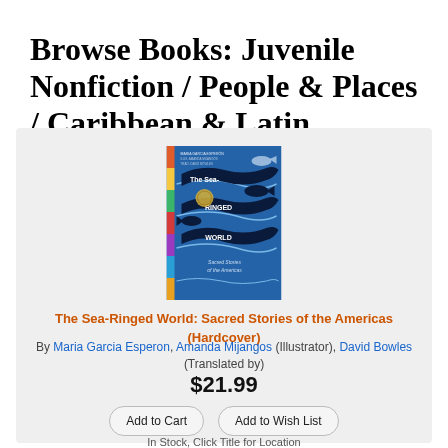Browse Books: Juvenile Nonfiction / People & Places / Caribbean & Latin America
[Figure (illustration): Book cover of 'The Sea-Ringed World: Sacred Stories of the Americas' with a dark blue background featuring whale/serpent shapes and decorative ribbon banners with the title text. Colorful spine stripe on the left.]
The Sea-Ringed World: Sacred Stories of the Americas (Hardcover)
By Maria Garcia Esperon, Amanda Mijangos (Illustrator), David Bowles (Translated by)
$21.99
Add to Cart
Add to Wish List
In Stock, Click Title for Location